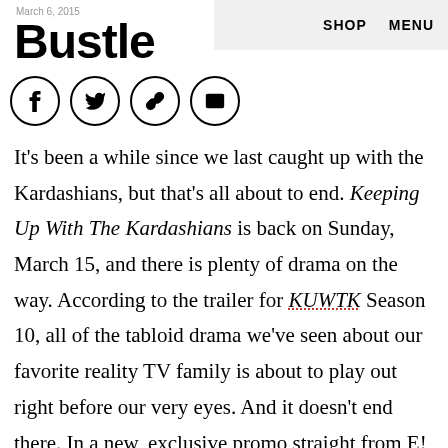March 6, 2015
Bustle
SHOP   MENU
[Figure (other): Social share icons: Facebook, Twitter, link/chain, email — each in a circle]
It's been a while since we last caught up with the Kardashians, but that's all about to end. Keeping Up With The Kardashians is back on Sunday, March 15, and there is plenty of drama on the way. According to the trailer for KUWTK Season 10, all of the tabloid drama we've seen about our favorite reality TV family is about to play out right before our very eyes. And it doesn't end there. In a new, exclusive promo straight from E!, Kim Kardashian whines about her sex life, Bruce feels a little left out by his family now that he and Kris have split, and there's tons more of the juicy